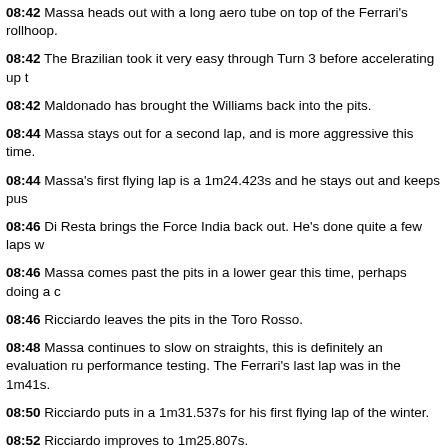08:42 Massa heads out with a long aero tube on top of the Ferrari's rollhoop.
08:42 The Brazilian took it very easy through Turn 3 before accelerating up t
08:42 Maldonado has brought the Williams back into the pits.
08:44 Massa stays out for a second lap, and is more aggressive this time.
08:44 Massa's first flying lap is a 1m24.423s and he stays out and keeps pus
08:46 Di Resta brings the Force India back out. He's done quite a few laps w
08:46 Massa comes past the pits in a lower gear this time, perhaps doing a c
08:46 Ricciardo leaves the pits in the Toro Rosso.
08:48 Massa continues to slow on straights, this is definitely an evaluation run performance testing. The Ferrari's last lap was in the 1m41s.
08:50 Ricciardo puts in a 1m31.537s for his first flying lap of the winter.
08:52 Ricciardo improves to 1m25.807s.
08:54 Several of you have asked how the times set so far compare to last ye Raikkonen's 1m20.514s is quicker than the 1m20.709s that Massa set when testing in February 2011.
08:54 Last year Jerez was the second venue on the testing schedule after a